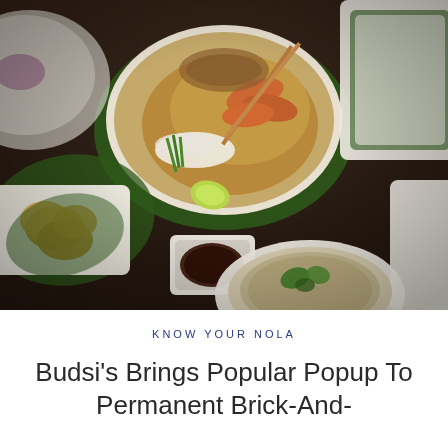[Figure (photo): Overhead view of Thai food spread on a dark wooden table: a large plate of Pad Thai with shrimp, bean sprouts, green onions, and chopsticks on a banana leaf; a small bowl of dark dipping sauce; fried items on a white rectangular plate on banana leaf; a bowl of soup with herbs; and white plates in the upper right corner.]
KNOW YOUR NOLA
Budsi's Brings Popular Popup To Permanent Brick-And-Mortar Restaurant